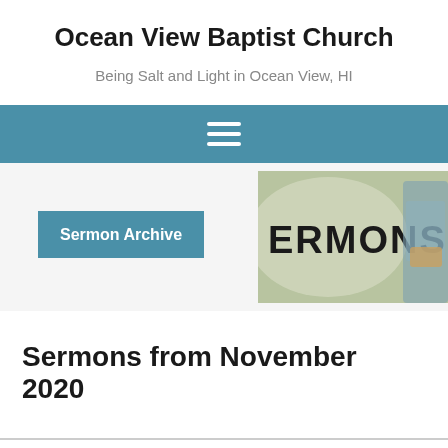Ocean View Baptist Church
Being Salt and Light in Ocean View, HI
[Figure (other): Navigation bar with hamburger menu icon (three horizontal lines) on a steel blue background]
[Figure (illustration): Banner image showing the word ERMONS (part of SERMONS) with a person holding a book, overlaid with a blue 'Sermon Archive' badge label]
Sermons from November 2020